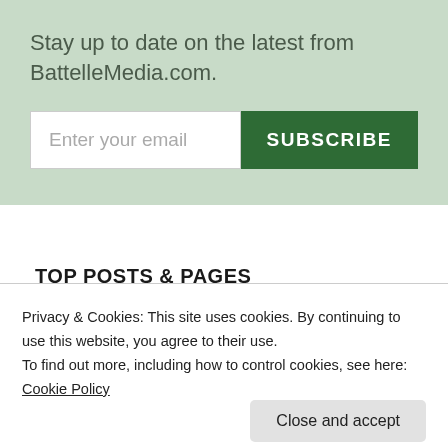Stay up to date on the latest from BattelleMedia.com.
[Figure (screenshot): Email subscription form with text input field labeled 'Enter your email' and a dark green 'SUBSCRIBE' button]
TOP POSTS & PAGES
Privacy & Cookies: This site uses cookies. By continuing to use this website, you agree to their use.
To find out more, including how to control cookies, see here: Cookie Policy
[Figure (screenshot): Close and accept button for cookie consent banner]
Right Message, Right Time: P&G's Lead with